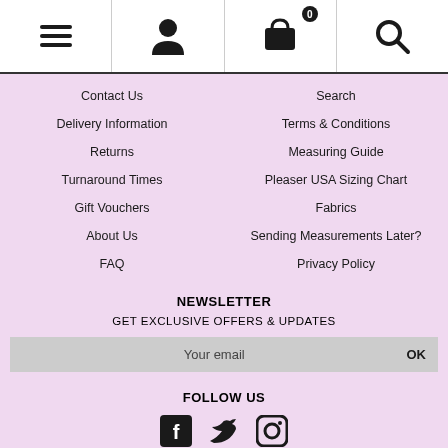[Figure (screenshot): Navigation bar with hamburger menu, user icon, basket icon with 0 badge, and search icon]
Contact Us
Search
Delivery Information
Terms & Conditions
Returns
Measuring Guide
Turnaround Times
Pleaser USA Sizing Chart
Gift Vouchers
Fabrics
About Us
Sending Measurements Later?
FAQ
Privacy Policy
NEWSLETTER
GET EXCLUSIVE OFFERS & UPDATES
Your email    OK
FOLLOW US
[Figure (illustration): Social media icons: Facebook, Twitter, Instagram]